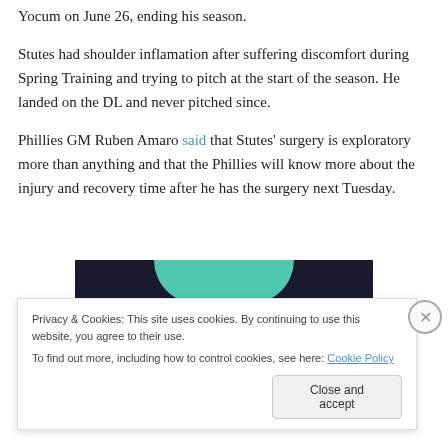Yocum on June 26, ending his season.
Stutes had shoulder inflamation after suffering discomfort during Spring Training and trying to pitch at the start of the season. He landed on the DL and never pitched since.
Phillies GM Ruben Amaro said that Stutes' surgery is exploratory more than anything and that the Phillies will know more about the injury and recovery time after he has the surgery next Tuesday.
[Figure (screenshot): Partial screenshot of a website with dark background and teal curved element, partially obscured by cookie consent banner]
Privacy & Cookies: This site uses cookies. By continuing to use this website, you agree to their use.
To find out more, including how to control cookies, see here: Cookie Policy